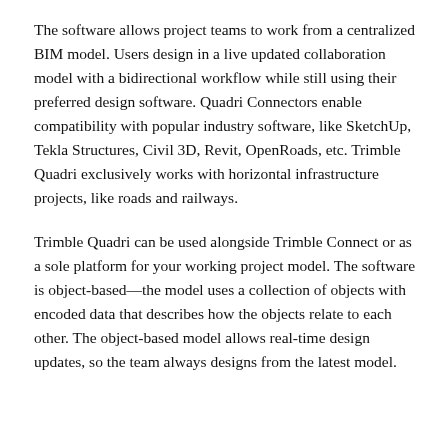The software allows project teams to work from a centralized BIM model. Users design in a live updated collaboration model with a bidirectional workflow while still using their preferred design software. Quadri Connectors enable compatibility with popular industry software, like SketchUp, Tekla Structures, Civil 3D, Revit, OpenRoads, etc. Trimble Quadri exclusively works with horizontal infrastructure projects, like roads and railways.
Trimble Quadri can be used alongside Trimble Connect or as a sole platform for your working project model. The software is object-based—the model uses a collection of objects with encoded data that describes how the objects relate to each other. The object-based model allows real-time design updates, so the team always designs from the latest model.